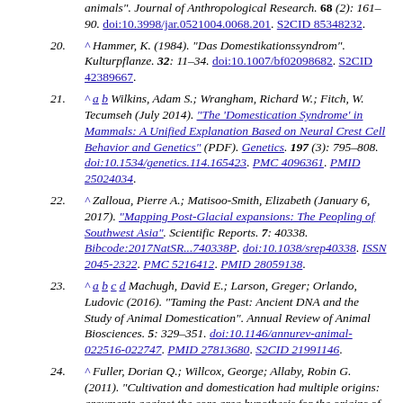animals". Journal of Anthropological Research. 68 (2): 161–90. doi:10.3998/jar.0521004.0068.201. S2CID 85348232.
20. ^ Hammer, K. (1984). "Das Domestikationssyndrom". Kulturpflanze. 32: 11–34. doi:10.1007/bf02098682. S2CID 42389667.
21. ^ a b Wilkins, Adam S.; Wrangham, Richard W.; Fitch, W. Tecumseh (July 2014). "The 'Domestication Syndrome' in Mammals: A Unified Explanation Based on Neural Crest Cell Behavior and Genetics" (PDF). Genetics. 197 (3): 795–808. doi:10.1534/genetics.114.165423. PMC 4096361. PMID 25024034.
22. ^ Zalloua, Pierre A.; Matisoo-Smith, Elizabeth (January 6, 2017). "Mapping Post-Glacial expansions: The Peopling of Southwest Asia". Scientific Reports. 7: 40338. Bibcode:2017NatSR...740338P. doi:10.1038/srep40338. ISSN 2045-2322. PMC 5216412. PMID 28059138.
23. ^ a b c d Machugh, David E.; Larson, Greger; Orlando, Ludovic (2016). "Taming the Past: Ancient DNA and the Study of Animal Domestication". Annual Review of Animal Biosciences. 5: 329–351. doi:10.1146/annurev-animal-022516-022747. PMID 27813680. S2CID 21991146.
24. ^ Fuller, Dorian Q.; Willcox, George; Allaby, Robin G. (2011). "Cultivation and domestication had multiple origins: arguments against the core area hypothesis for the origins of agriculture in the Near East". World Archaeology. 43 (4).